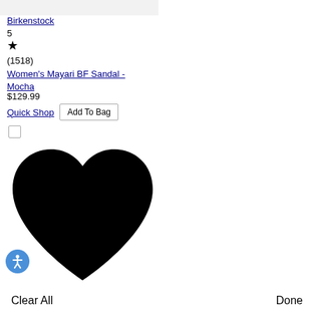[Figure (other): Light gray product image placeholder strip at top]
Birkenstock
5
★
(1518)
Women's Mayari BF Sandal - Mocha
$129.99
Quick Shop  Add To Bag
[Figure (illustration): Large black heart/favorite icon]
[Figure (illustration): Blue circular accessibility icon with person figure]
Clear All
Done